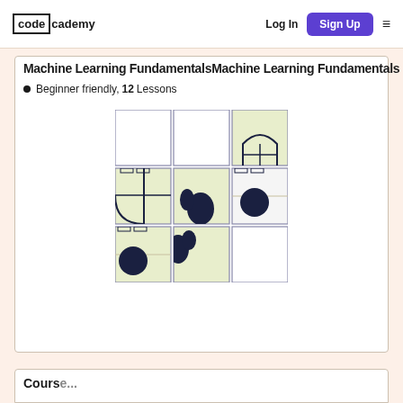codecademy — Log In | Sign Up
Machine Learning Fundamentals
Beginner friendly, 12 Lessons
[Figure (illustration): A 3x3 grid of tiles showing a fragmented decorative illustration. Some tiles have a light green background with portions of an arch/door motif and a dark circle, while other tiles are plain white. The tiles together form a puzzle-like image.]
Course...